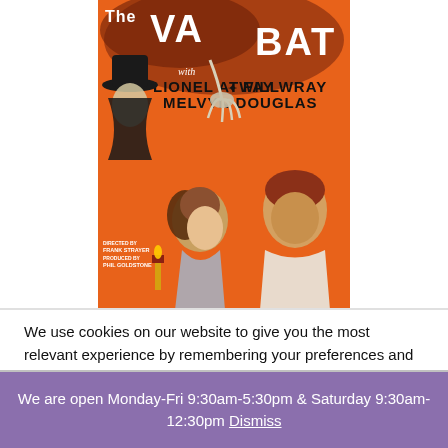[Figure (illustration): Vintage movie poster for 'The Vampire Bat' featuring Lionel Atwill, Fay Wray, and Melvyn Douglas on an orange background with a shadowy figure in a hat, a claw-like hand, and two people in the foreground. Credits: Directed by Frank Strayer, Produced by Phil Goldstone.]
We use cookies on our website to give you the most relevant experience by remembering your preferences and repeat visits. By clicking "Accept All", you consent to the use of ALL the cookies. However, you may visit "Cookie Settings" to provide a controlled consent.
We are open Monday-Fri 9:30am-5:30pm & Saturday 9:30am-12:30pm Dismiss